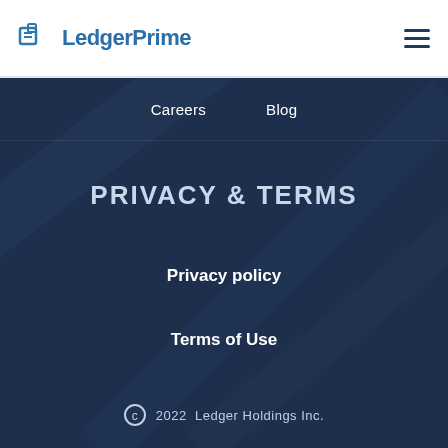LedgerPrime
Careers
Blog
PRIVACY & TERMS
Privacy policy
Terms of Use
© 2022 Ledger Holdings Inc.